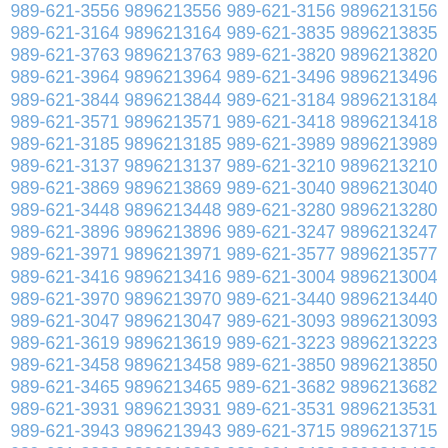989-621-3556 9896213556 989-621-3156 9896213156 989-621-3164 9896213164 989-621-3835 9896213835 989-621-3763 9896213763 989-621-3820 9896213820 989-621-3964 9896213964 989-621-3496 9896213496 989-621-3844 9896213844 989-621-3184 9896213184 989-621-3571 9896213571 989-621-3418 9896213418 989-621-3185 9896213185 989-621-3989 9896213989 989-621-3137 9896213137 989-621-3210 9896213210 989-621-3869 9896213869 989-621-3040 9896213040 989-621-3448 9896213448 989-621-3280 9896213280 989-621-3896 9896213896 989-621-3247 9896213247 989-621-3971 9896213971 989-621-3577 9896213577 989-621-3416 9896213416 989-621-3004 9896213004 989-621-3970 9896213970 989-621-3440 9896213440 989-621-3047 9896213047 989-621-3093 9896213093 989-621-3619 9896213619 989-621-3223 9896213223 989-621-3458 9896213458 989-621-3850 9896213850 989-621-3465 9896213465 989-621-3682 9896213682 989-621-3931 9896213931 989-621-3531 9896213531 989-621-3943 9896213943 989-621-3715 9896213715 989-621-3282 9896213282 989-621-3482 9896213482 989-621-3996 9896213996 989-621-3569 9896213569 989-621-3775 9896213775 989-621-3600 9896213600 989-621-3414 9896213414 989-621-3855 9896213855 989-621-3244 9896213244 989-621-3535 9896213535 989-621-3084 9896213084 989-621-3224 9896213224